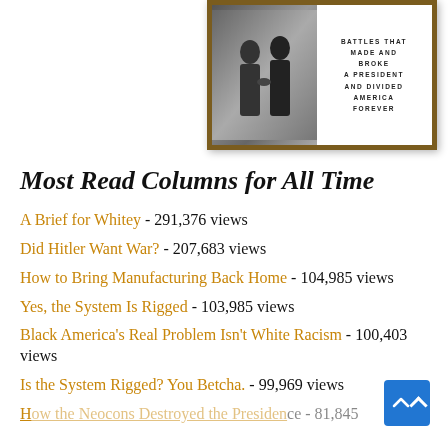[Figure (photo): Book cover showing two men shaking hands in a black and white photo, with text on the right side reading 'BATTLES THAT MADE AND BROKE A PRESIDENT AND DIVIDED AMERICA FOREVER']
Most Read Columns for All Time
A Brief for Whitey - 291,376 views
Did Hitler Want War? - 207,683 views
How to Bring Manufacturing Back Home - 104,985 views
Yes, the System Is Rigged - 103,985 views
Black America's Real Problem Isn't White Racism - 100,403 views
Is the System Rigged? You Betcha. - 99,969 views
How the Neocons Destroyed the Presidency - 81,845 views (partially visible)